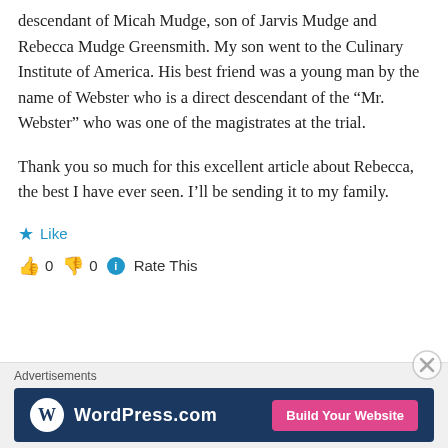descendant of Micah Mudge, son of Jarvis Mudge and Rebecca Mudge Greensmith. My son went to the Culinary Institute of America. His best friend was a young man by the name of Webster who is a direct descendant of the “Mr. Webster” who was one of the magistrates at the trial.
Thank you so much for this excellent article about Rebecca, the best I have ever seen. I’ll be sending it to my family.
★ Like
👍 0  👎 0  ℹ Rate This
Advertisements
[Figure (other): WordPress.com advertisement banner with logo and 'Build Your Website' button on dark navy background]